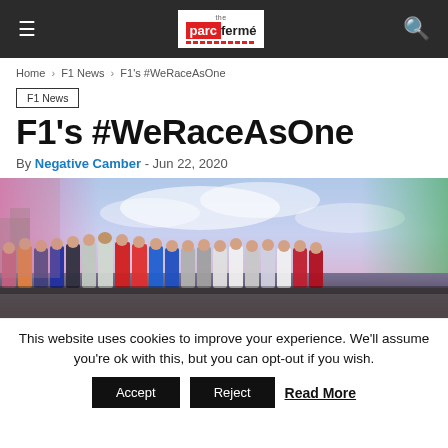parc fermé — site header with navigation
Home > F1 News > F1's #WeRaceAsOne
F1 News
F1's #WeRaceAsOne
By Negative Camber - Jun 22, 2020
[Figure (photo): Group photo of Formula 1 drivers standing in a row on a race track, colorful and wide panoramic shot]
This website uses cookies to improve your experience. We'll assume you're ok with this, but you can opt-out if you wish. Accept Reject Read More